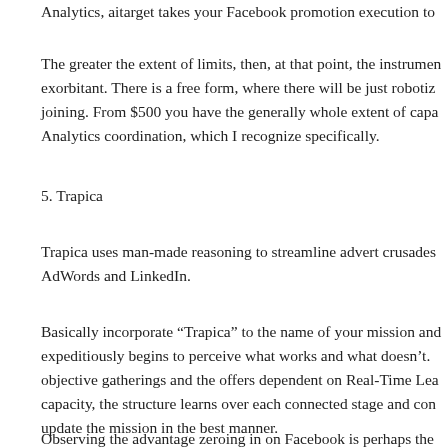Analytics, aitarget takes your Facebook promotion execution to
The greater the extent of limits, then, at that point, the instrument exorbitant. There is a free form, where there will be just robotized joining. From $500 you have the generally whole extent of capabilities Analytics coordination, which I recognize specifically.
5. Trapica
Trapica uses man-made reasoning to streamline advert crusades AdWords and LinkedIn.
Basically incorporate “Trapica” to the name of your mission and expeditiously begins to perceive what works and what doesn’t. objective gatherings and the offers dependent on Real-Time Lea capacity, the structure learns over each connected stage and con update the mission in the best manner.
Observing the advantage zeroing in on Facebook is perhaps the